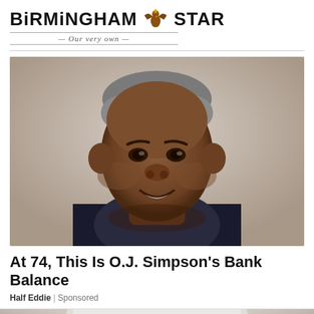BIRMINGHAM STAR — Our very own
[Figure (photo): Portrait photo of an older Black man smiling, with gray hair, wearing a dark blue shirt, against a beige/neutral background.]
At 74, This Is O.J. Simpson's Bank Balance
Half Eddie | Sponsored
[Figure (photo): Partial photo at the bottom of the page, showing the top portion of a person with white/gray hair.]